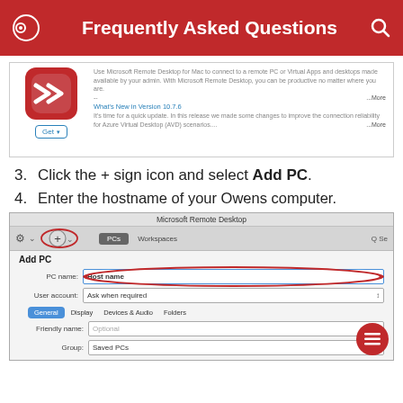Frequently Asked Questions
[Figure (screenshot): App Store listing for Microsoft Remote Desktop for Mac showing app icon, description, and 'What's New in Version 10.7.6' section]
3. Click the + sign icon and select Add PC.
4. Enter the hostname of your Owens computer.
[Figure (screenshot): Microsoft Remote Desktop application screenshot showing the Add PC dialog with PC name field containing 'Host name' (circled in red), User account field showing 'Ask when required', tabs for General/Display/Devices & Audio/Folders, Friendly name field (Optional), and Group field showing 'Saved PCs'. The + button in the toolbar is circled in red.]